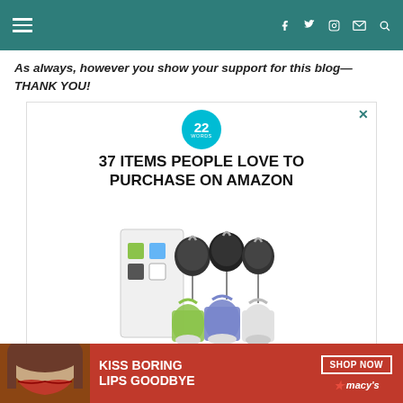Navigation header with hamburger menu and social icons (Facebook, Twitter, Instagram, Email, Search)
As always, however you show your support for this blog—THANK YOU!
[Figure (screenshot): Advertisement: 22 Words badge with text '37 ITEMS PEOPLE LOVE TO PURCHASE ON AMAZON' and product image of retractable badge holders with silicone travel bottles]
[Figure (screenshot): Bottom banner ad: 'KISS BORING LIPS GOODBYE' with SHOP NOW button and Macy's logo, featuring a model's lips]